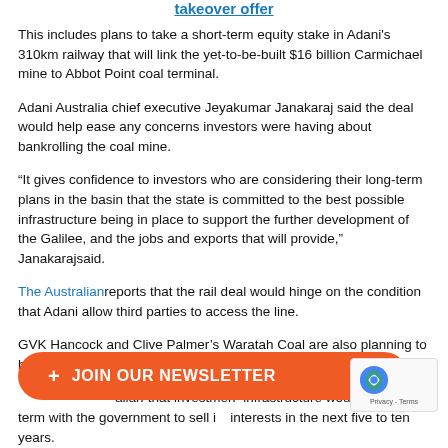takeover offer
This includes plans to take a short-term equity stake in Adani's 310km railway that will link the yet-to-be-built $16 billion Carmichael mine to Abbot Point coal terminal.
Adani Australia chief executive Jeyakumar Janakaraj said the deal would help ease any concerns investors were having about bankrolling the coal mine.
“It gives confidence to investors who are considering their long-term plans in the basin that the state is committed to the best possible infrastructure being in place to support the further development of the Galilee, and the jobs and exports that will provide,” Janakarajsaid.
The Australian reports that the rail deal would hinge on the condition that Adani allow third parties to access the line.
GVK Hancock and Clive Palmer’s Waratah Coal are also planning to build on massive new mines in the coal rich region.
[Figure (other): Orange newsletter signup button with plus icon and text JOIN OUR NEWSLETTER]
[Figure (other): reCAPTCHA badge with Privacy and Terms text]
...alian that investment in infrastructure would be short-term with the government to sell its interests in the next five to ten years.